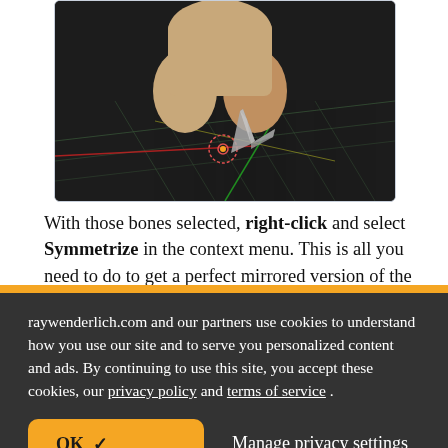[Figure (screenshot): 3D modeling software viewport showing a tan/beige humanoid figure (torso and legs visible from behind), with a bone rig/armature widget visible between the legs. Red, green, and yellow grid lines visible in dark background viewport.]
With those bones selected, right-click and select Symmetrize in the context menu. This is all you need to do to get a perfect mirrored version of the
raywenderlich.com and our partners use cookies to understand how you use our site and to serve you personalized content and ads. By continuing to use this site, you accept these cookies, our privacy policy and terms of service .
OK ✓    Manage privacy settings